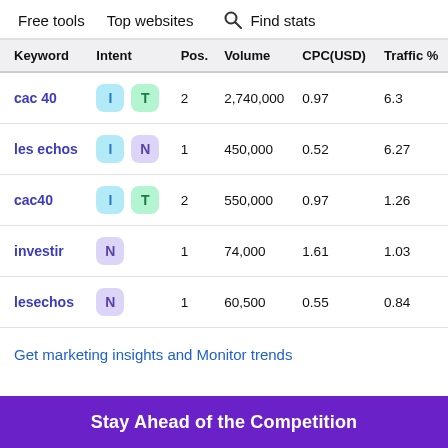Free tools   Top websites   🔍 Find stats
| Keyword | Intent | Pos. | Volume | CPC(USD) | Traffic % |
| --- | --- | --- | --- | --- | --- |
| cac 40 | I T | 2 | 2,740,000 | 0.97 | 6.3 |
| les echos | I N | 1 | 450,000 | 0.52 | 6.27 |
| cac40 | I T | 2 | 550,000 | 0.97 | 1.26 |
| investir | N | 1 | 74,000 | 1.61 | 1.03 |
| lesechos | N | 1 | 60,500 | 0.55 | 0.84 |
Get marketing insights and Monitor trends
Stay Ahead of the Competition